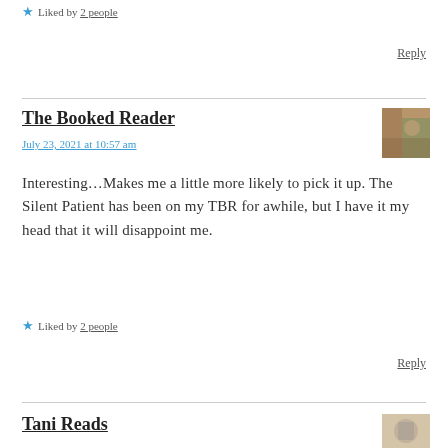★ Liked by 2 people
Reply
The Booked Reader
July 23, 2021 at 10:57 am
Interesting…Makes me a little more likely to pick it up. The Silent Patient has been on my TBR for awhile, but I have it my head that it will disappoint me.
★ Liked by 2 people
Reply
Tani Reads